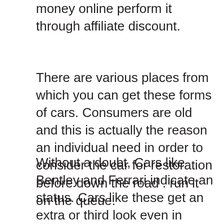money online perform it through affiliate discount.
There are various places from which you can get these forms of cars. Consumers are old and this is actually the reason an individual need in order to consider the car for restoration before down the road . run it on the queue.
Without a doubt, Cars like Bentley and Ferrari indicate an status. Cars like these get an extra or third look even in cities like NYC and L.A Cost run your market $100k range and appreciates how much these cars costs.
Car Proof or Car Fax! Don't think of buying a used ca, private or for the dealer, unless you